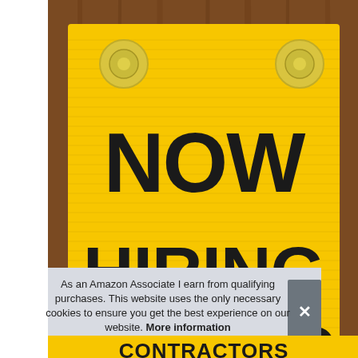[Figure (photo): A yellow corrugated plastic 'NOW HIRING' sign mounted on a wood-paneled surface with suction cups visible at top corners. The sign has bold black text reading 'NOW HIRING' and partial text below. A semi-transparent cookie consent overlay appears at the bottom of the image with text and a close button.]
As an Amazon Associate I earn from qualifying purchases. This website uses the only necessary cookies to ensure you get the best experience on our website. More information